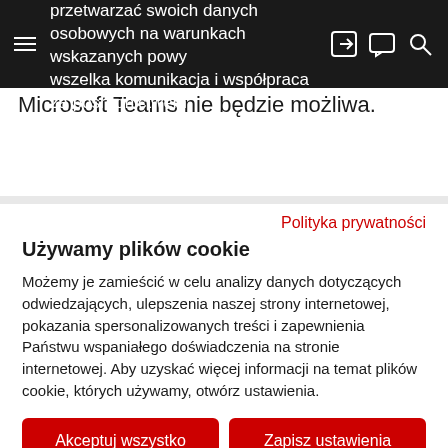zdecydują się Państwo nie przetwarzać swoich danych osobowych na warunkach wskazanych powyżej, wszelka komunikacja i współpraca za pośrednictwem Microsoft Teams nie będzie możliwa.
Polityka prywatności
Używamy plików cookie
Możemy je zamieścić w celu analizy danych dotyczących odwiedzających, ulepszenia naszej strony internetowej, pokazania spersonalizowanych treści i zapewnienia Państwu wspaniałego doświadczenia na stronie internetowej. Aby uzyskać więcej informacji na temat plików cookie, których używamy, otwórz ustawienia.
Akceptuj wszystko
Zapisz ustawienia
Nie zgadzam się
Dostosuj